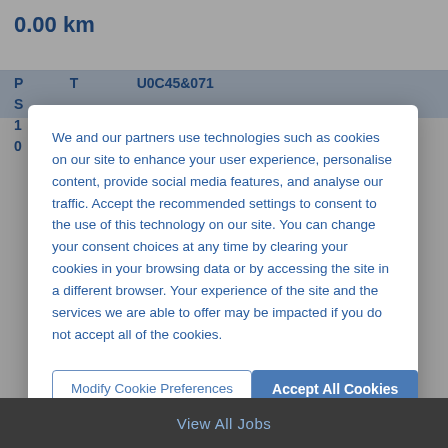0.00 km
We and our partners use technologies such as cookies on our site to enhance your user experience, personalise content, provide social media features, and analyse our traffic. Accept the recommended settings to consent to the use of this technology on our site. You can change your consent choices at any time by clearing your cookies in your browsing data or by accessing the site in a different browser. Your experience of the site and the services we are able to offer may be impacted if you do not accept all of the cookies.
Modify Cookie Preferences
Accept All Cookies
View All Jobs